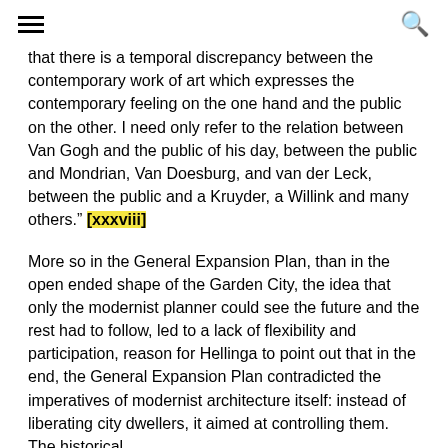[hamburger menu icon] [search icon]
that there is a temporal discrepancy between the contemporary work of art which expresses the contemporary feeling on the one hand and the public on the other. I need only refer to the relation between Van Gogh and the public of his day, between the public and Mondrian, Van Doesburg, and van der Leck, between the public and a Kruyder, a Willink and many others." [xxxviii]
More so in the General Expansion Plan, than in the open ended shape of the Garden City, the idea that only the modernist planner could see the future and the rest had to follow, led to a lack of flexibility and participation, reason for Hellinga to point out that in the end, the General Expansion Plan contradicted the imperatives of modernist architecture itself: instead of liberating city dwellers, it aimed at controlling them. The historical